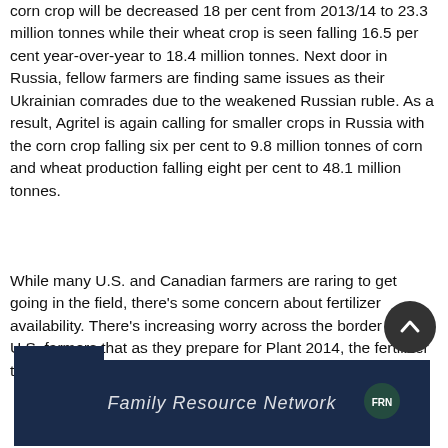corn crop will be decreased 18 per cent from 2013/14 to 23.3 million tonnes while their wheat crop is seen falling 16.5 per cent year-over-year to 18.4 million tonnes. Next door in Russia, fellow farmers are finding same issues as their Ukrainian comrades due to the weakened Russian ruble. As a result, Agritel is again calling for smaller crops in Russia with the corn crop falling six per cent to 9.8 million tonnes of corn and wheat production falling eight per cent to 48.1 million tonnes.
While many U.S. and Canadian farmers are raring to get going in the field, there's some concern about fertilizer availability. There's increasing worry across the border from U.S. farmers that as they prepare for Plant 2014, the fertilizer they need to jumpstart their crops won't be at their
[Figure (other): Family Resource Network banner advertisement with dark navy background and italic white text. A small logo appears in the upper left tab area and a logo on the right side.]